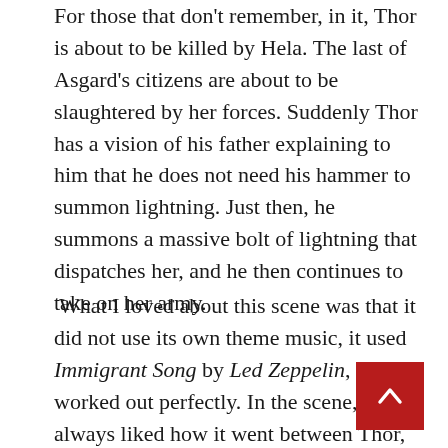For those that don't remember, in it, Thor is about to be killed by Hela. The last of Asgard's citizens are about to be slaughtered by her forces. Suddenly Thor has a vision of his father explaining to him that he does not need his hammer to summon lightning. Just then, he summons a massive bolt of lightning that dispatches her, and he then continues to take on her army.
What I loved about this scene was that it did not use its own theme music, it used Immigrant Song by Led Zeppelin, and it worked out perfectly. In the scene, I always liked how it went between Thor, Hulk taking on Fenris the wolf, and Valkyrie strut walking down to face Hela's army. All these reasons are why it made it into my list.